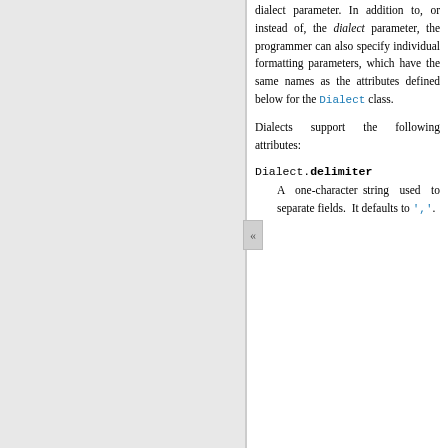dialect parameter. In addition to, or instead of, the dialect parameter, the programmer can also specify individual formatting parameters, which have the same names as the attributes defined below for the Dialect class.
Dialects support the following attributes:
Dialect.delimiter
A one-character string used to separate fields. It defaults to ','.